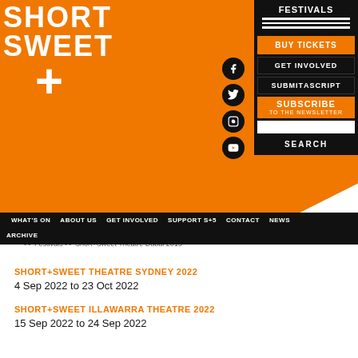[Figure (logo): Short+Sweet logo on orange background with navigation buttons and social media icons]
FESTIVALS | BUY TICKETS | GET INVOLVED | SUBMIT A SCRIPT | SUBSCRIBE TO THE NEWSLETTER | SEARCH
WHAT'S ON  ABOUT US  GET INVOLVED  SUPPORT S+5  CONTACT  NEWS  ARCHIVE
>> Festivals >> Short+Sweet Theatre Dubai 2015
SHORT+SWEET THEATRE SYDNEY 2022
4 Sep 2022 to 23 Oct 2022
SHORT+SWEET ILLAWARRA THEATRE 2022
15 Sep 2022 to 24 Sep 2022